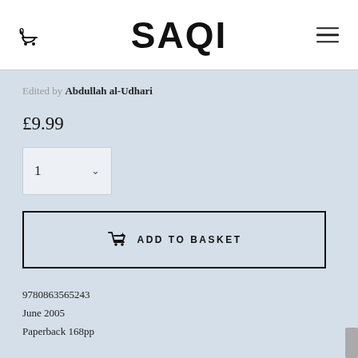SAQI
Edited by Abdullah al-Udhari
£9.99
1
ADD TO BASKET
9780863565243
June 2005
Paperback 168pp